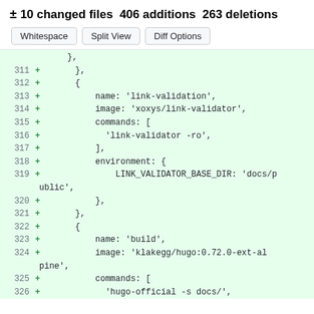± 10 changed files  406 additions  263 deletions
Whitespace  Split View  Diff Options
311 + },
312 + {
313 +     name: 'link-validation',
314 +     image: 'xoxys/link-validator',
315 +     commands: [
316 +       'link-validator -ro',
317 +     ],
318 +     environment: {
319 +       LINK_VALIDATOR_BASE_DIR: 'docs/public',
320 +     },
321 +   },
322 + {
323 +     name: 'build',
324 +     image: 'klakegg/hugo:0.72.0-ext-alpine',
325 +     commands: [
326 +   'hugo-official -s docs/,